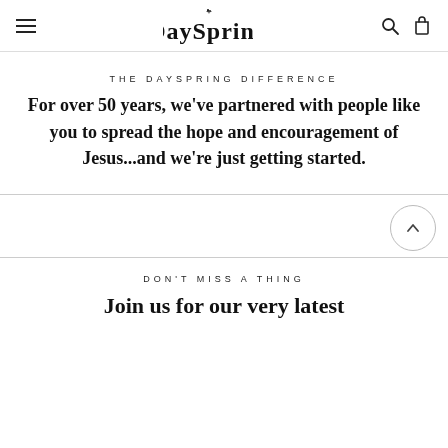DaySpring
THE DAYSPRING DIFFERENCE
For over 50 years, we've partnered with people like you to spread the hope and encouragement of Jesus...and we're just getting started.
DON'T MISS A THING
Join us for our very latest